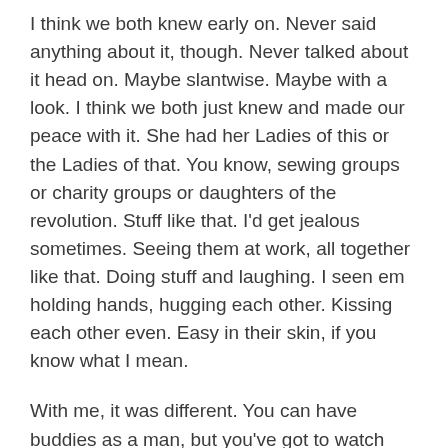I think we both knew early on. Never said anything about it, though. Never talked about it head on. Maybe slantwise. Maybe with a look. I think we both just knew and made our peace with it. She had her Ladies of this or the Ladies of that. You know, sewing groups or charity groups or daughters of the revolution. Stuff like that. I'd get jealous sometimes. Seeing them at work, all together like that. Doing stuff and laughing. I seen em holding hands, hugging each other. Kissing each other even. Easy in their skin, if you know what I mean.
With me, it was different. You can have buddies as a man, but you've got to watch what you say. They'll laugh, all right, but not always with you. You bring in a flower to give someone or brighten up the place and they'll be: So, who you trying to impress? And does your wife know? And stuff like that. So you drink and you tell jokes and turn your back on all the rest. If I were to say to them, the guys I worked with or drank with or hunted